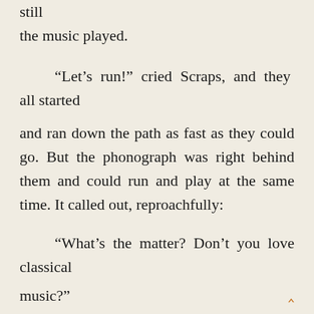still
the music played.

“Let’s run!” cried Scraps, and they all started

and ran down the path as fast as they could go. But the phonograph was right behind them and could run and play at the same time. It called out, reproachfully:

“What’s the matter? Don’t you love classical

music?”